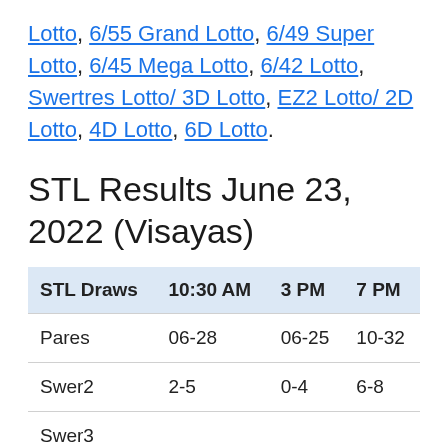Lotto, 6/55 Grand Lotto, 6/49 Super Lotto, 6/45 Mega Lotto, 6/42 Lotto, Swertres Lotto/ 3D Lotto, EZ2 Lotto/ 2D Lotto, 4D Lotto, 6D Lotto.
STL Results June 23, 2022 (Visayas)
| STL Draws | 10:30 AM | 3 PM | 7 PM |
| --- | --- | --- | --- |
| Pares | 06-28 | 06-25 | 10-32 |
| Swer2 | 2-5 | 0-4 | 6-8 |
| Swer3 |  |  |  |